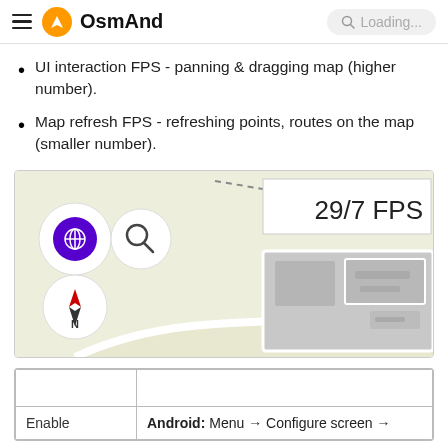OsmAnd — Loading...
UI interaction FPS - panning & dragging map (higher number).
Map refresh FPS - refreshing points, routes on the map (smaller number).
[Figure (screenshot): OsmAnd map screenshot showing a map view with navigation icons (globe, search, compass north) on the left, and a white overlay box in the top-right displaying '29/7 FPS'. The map background is light olive/beige with gray building footprints and white road paths.]
|  |  |
| Enable | Android: Menu → Configure screen → |